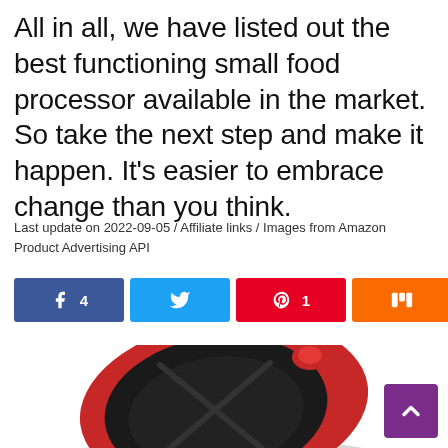All in all, we have listed out the best functioning small food processor available in the market. So take the next step and make it happen. It’s easier to embrace change than you think.
Last update on 2022-09-05 / Affiliate links / Images from Amazon Product Advertising API
[Figure (infographic): Social share buttons: Facebook (4 shares), Twitter, Pinterest (1 share), Mix, and a share count showing 5 SHARES]
[Figure (photo): Partial photo of a red and black small food processor lid from above, with vegetables visible at the bottom edge]
[Figure (other): Purple back-to-top button with an upward chevron arrow in white]